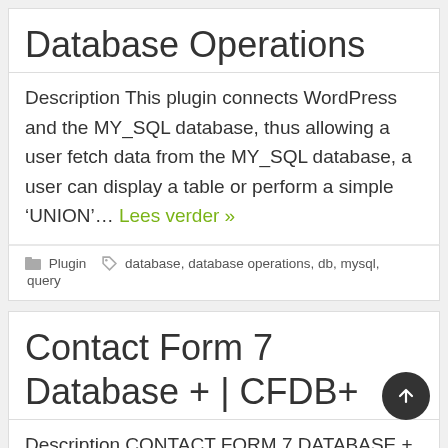Database Operations
Description This plugin connects WordPress and the MY_SQL database, thus allowing a user fetch data from the MY_SQL database, a user can display a table or perform a simple ‘UNION’… Lees verder »
Plugin  database, database operations, db, mysql, query
Contact Form 7 Database + | CFDB+
Description CONTACT FORM 7 DATABASE + :